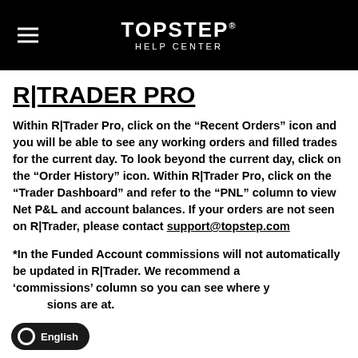TOPSTEP HELP CENTER
R|TRADER PRO
Within R|Trader Pro, click on the “Recent Orders” icon and you will be able to see any working orders and filled trades for the current day. To look beyond the current day, click on the “Order History” icon. Within R|Trader Pro, click on the “Trader Dashboard” and refer to the “PNL” column to view Net P&L and account balances. If your orders are not seen on R|Trader, please contact support@topstep.com
*In the Funded Account commissions will not automatically be updated in R|Trader. We recommend a[...]'commissions' column so you can see where your commissions are at.